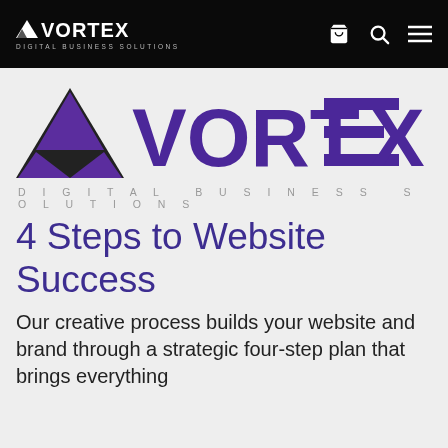VORTEX DIGITAL BUSINESS SOLUTIONS — navigation bar with cart, search, and menu icons
[Figure (logo): Vortex Digital Business Solutions large logo with purple triangle icon, purple styled VORTEX text with horizontal lines replacing the E, and gray spaced subtitle text DIGITAL BUSINESS SOLUTIONS]
4 Steps to Website Success
Our creative process builds your website and brand through a strategic four-step plan that brings everything